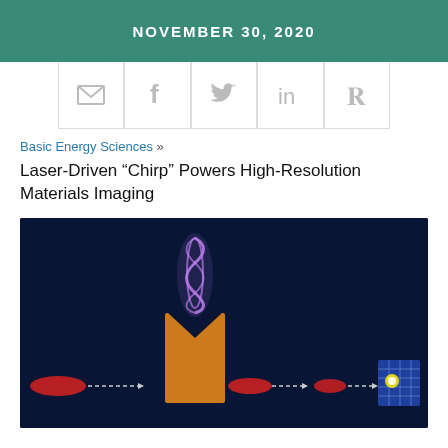NOVEMBER 30, 2020
[Figure (other): Social sharing icons: email, facebook, twitter, linkedin, pinterest]
Basic Energy Sciences »
Laser-Driven “Chirp” Powers High-Resolution Materials Imaging
[Figure (illustration): Scientific illustration on dark blue background showing a laser beam (purple spiral/helix) hitting an orange crystal/prism structure, with red elliptical beam shapes along a horizontal path leading to a detector grid on the right.]